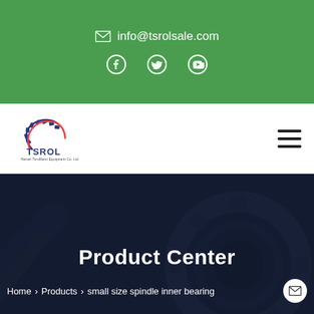info@tsrolsale.com
[Figure (logo): TSROL company logo with gear icon and tagline]
Product Center
Home > Products > small size spindle inner bearing